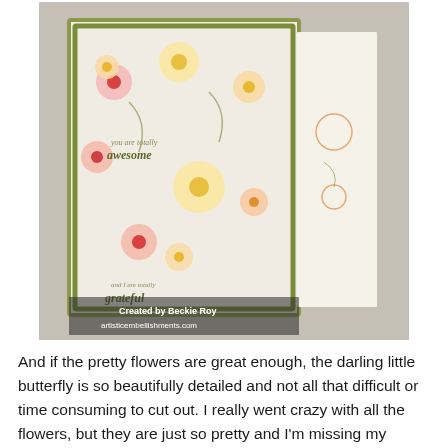[Figure (photo): A handmade greeting card standing upright, decorated with colorful stamped and die-cut flowers in pink, yellow, and orange on a light background with a dark green border. Text on the card reads 'you are totally awesome' and 'and I am totally grateful'. The card is displayed at an angle showing both the front and inside. Watermark at the bottom reads 'Created by Beckie Roy artisticembellishments.com'.]
And if the pretty flowers are great enough, the darling little butterfly is so beautifully detailed and not all that difficult or time consuming to cut out. I really went crazy with all the flowers, but they are just so pretty and I'm missing my garden... especially with